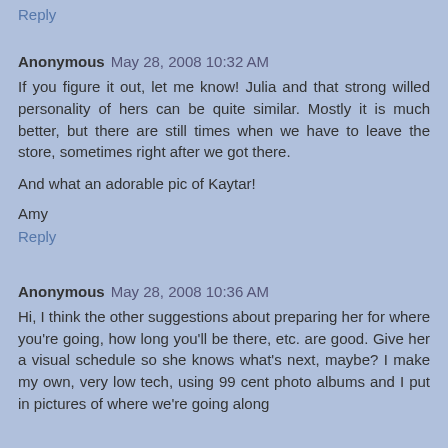Reply
Anonymous May 28, 2008 10:32 AM
If you figure it out, let me know! Julia and that strong willed personality of hers can be quite similar. Mostly it is much better, but there are still times when we have to leave the store, sometimes right after we got there.

And what an adorable pic of Kaytar!

Amy
Reply
Anonymous May 28, 2008 10:36 AM
Hi, I think the other suggestions about preparing her for where you're going, how long you'll be there, etc. are good. Give her a visual schedule so she knows what's next, maybe? I make my own, very low tech, using 99 cent photo albums and I put in pictures of where we're going along